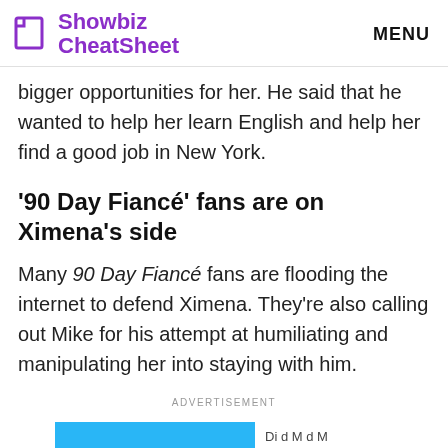Showbiz CheatSheet  MENU
bigger opportunities for her. He said that he wanted to help her learn English and help her find a good job in New York.
'90 Day Fiancé' fans are on Ximena's side
Many 90 Day Fiancé fans are flooding the internet to defend Ximena. They're also calling out Mike for his attempt at humiliating and manipulating her into staying with him.
ADVERTISEMENT
[Figure (other): Bottom advertisement banner — partial view showing a blue rectangle and partial text label]